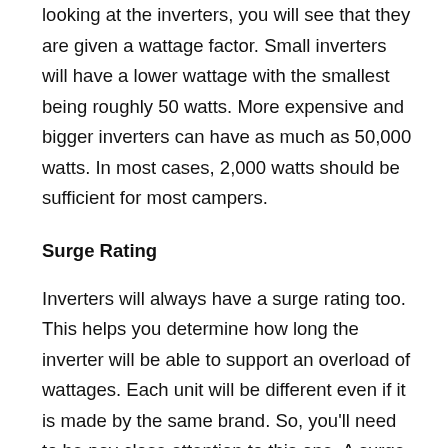looking at the inverters, you will see that they are given a wattage factor. Small inverters will have a lower wattage with the smallest being roughly 50 watts. More expensive and bigger inverters can have as much as 50,000 watts. In most cases, 2,000 watts should be sufficient for most campers.
Surge Rating
Inverters will always have a surge rating too. This helps you determine how long the inverter will be able to support an overload of wattages. Each unit will be different even if it is made by the same brand. So, you'll need to be pay close attention to this one. A surge rating of 3 will be sufficient for some. However, you may want to look for a unit that has a